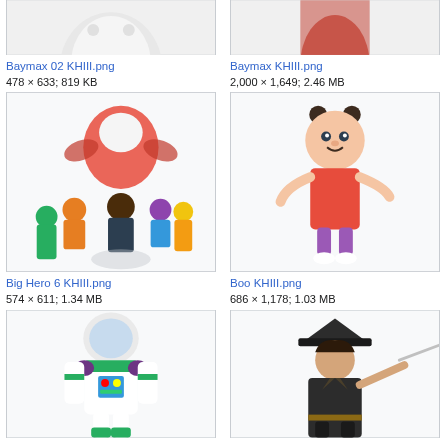[Figure (photo): Partial top view of Baymax 02 KHIII character (white inflatable robot), cropped]
Baymax 02 KHIII.png
478 × 633; 819 KB
[Figure (photo): Partial top view of Baymax KHIII character in red suit, cropped]
Baymax KHIII.png
2,000 × 1,649; 2.46 MB
[Figure (photo): Big Hero 6 KHIII group of animated characters including Baymax in red armor]
Big Hero 6 KHIII.png
574 × 611; 1.34 MB
[Figure (photo): Boo KHIII animated character from Monsters Inc, small girl in pink dress]
Boo KHIII.png
686 × 1,178; 1.03 MB
[Figure (photo): Buzz Lightyear animated character from Toy Story, partial view cropped at bottom]
[Figure (photo): Pirate captain character with sword and hat, partially cropped at bottom]